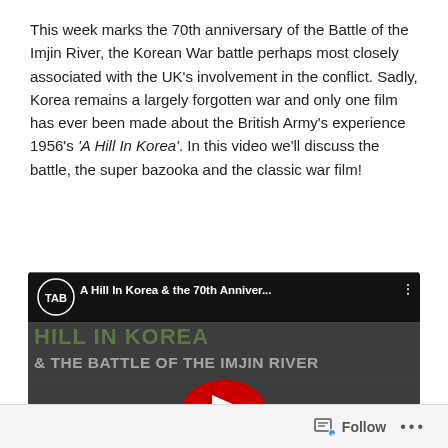This week marks the 70th anniversary of the Battle of the Imjin River, the Korean War battle perhaps most closely associated with the UK's involvement in the conflict. Sadly, Korea remains a largely forgotten war and only one film has ever been made about the British Army's experience 1956's 'A Hill In Korea'. In this video we'll discuss the battle, the super bazooka and the classic war film!
[Figure (screenshot): YouTube video thumbnail for 'A Hill In Korea & the 70th Anniversary of the Battle of the Imjin River'. Black and white image of soldiers with weapons. Green grunge-style text reads 'HILL IN KOREA' and white text reads '& THE BATTLE OF THE IMJIN RIVER'. TAB channel logo visible. Red YouTube play button in center.]
Follow ...